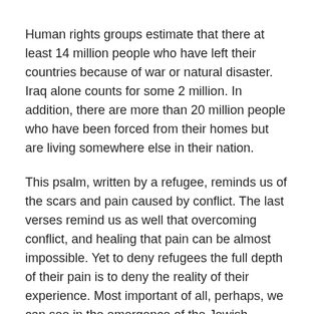Human rights groups estimate that there at least 14 million people who have left their countries because of war or natural disaster. Iraq alone counts for some 2 million. In addition, there are more than 20 million people who have been forced from their homes but are living somewhere else in their nation.
This psalm, written by a refugee, reminds us of the scars and pain caused by conflict. The last verses remind us as well that overcoming conflict, and healing that pain can be almost impossible. Yet to deny refugees the full depth of their pain is to deny the reality of their experience. Most important of all, perhaps, we can see in the emergence of the Jewish people out of that experience of exile, a new, deeper understanding of who they were, and who their God was.